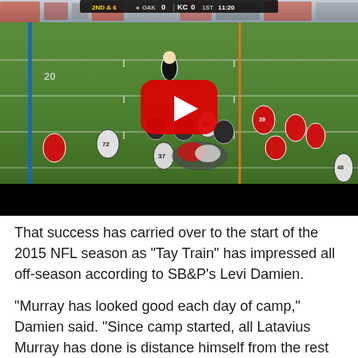[Figure (screenshot): YouTube embedded video player showing an NFL football game between the Oakland Raiders and Kansas City Chiefs. Scorebug at top reads '2ND & 6, OAK 0, KC 0, 1ST 11:20'. Red YouTube play button overlay in center of field video showing players in a running play.]
That success has carried over to the start of the 2015 NFL season as "Tay Train" has impressed all off-season according to SB&P's Levi Damien.
"Murray has looked good each day of camp," Damien said. "Since camp started, all Latavius Murray has done is distance himself from the rest of the running